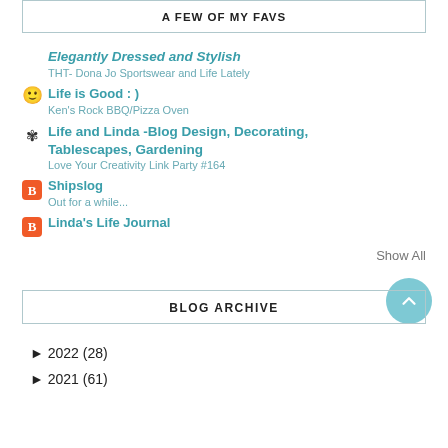A FEW OF MY FAVS
Elegantly Dressed and Stylish
THT- Dona Jo Sportswear and Life Lately
Life is Good : )
Ken's Rock BBQ/Pizza Oven
Life and Linda -Blog Design, Decorating, Tablescapes, Gardening
Love Your Creativity Link Party #164
Shipslog
Out for a while...
Linda's Life Journal
Show All
BLOG ARCHIVE
► 2022 (28)
► 2021 (61)